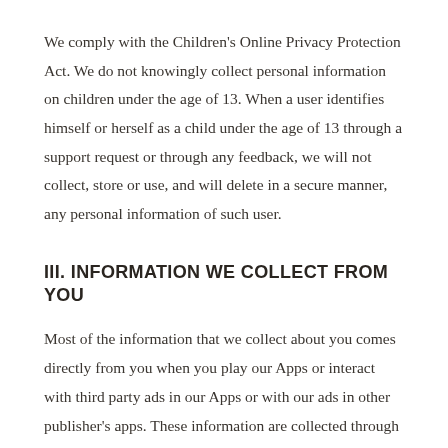We comply with the Children's Online Privacy Protection Act. We do not knowingly collect personal information on children under the age of 13. When a user identifies himself or herself as a child under the age of 13 through a support request or through any feedback, we will not collect, store or use, and will delete in a secure manner, any personal information of such user.
III. INFORMATION WE COLLECT FROM YOU
Most of the information that we collect about you comes directly from you when you play our Apps or interact with third party ads in our Apps or with our ads in other publisher's apps. These information are collected through SDKs (Software Development Kits) which are technical tools integrated into our Apps. In general, the information we collect about you relates to the type of device you use, information that helps identify your